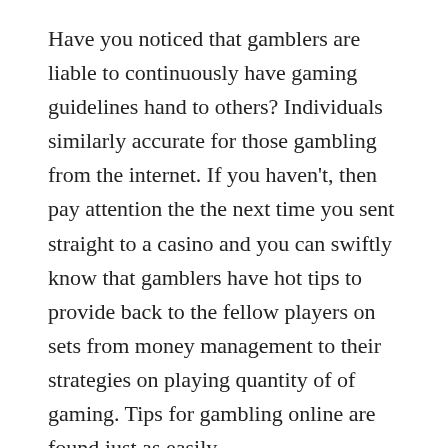Have you noticed that gamblers are liable to continuously have gaming guidelines hand to others? Individuals similarly accurate for those gambling from the internet. If you haven't, then pay attention the the next time you sent straight to a casino and you can swiftly know that gamblers have hot tips to provide back to the fellow players on sets from money management to their strategies on playing quantity of of gaming. Tips for gambling online are found just as easily.
Supporting your bets in online gambling is paramount, it's system of any follow up value to tilt a losing bets. This can be accomplished in numerous ways, make your skin better doubling Pg slot the subsequent bet,